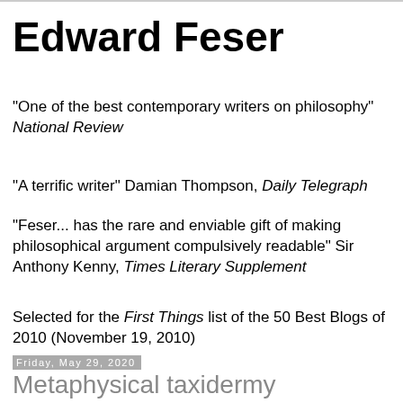Edward Feser
"One of the best contemporary writers on philosophy" National Review
"A terrific writer" Damian Thompson, Daily Telegraph
"Feser... has the rare and enviable gift of making philosophical argument compulsively readable" Sir Anthony Kenny, Times Literary Supplement
Selected for the First Things list of the 50 Best Blogs of 2010 (November 19, 2010)
Friday, May 29, 2020
Metaphysical taxidermy